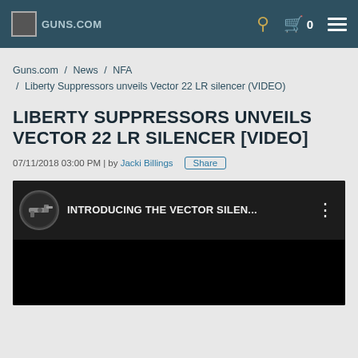Guns.com [logo] | search icon | cart 0 | menu
Guns.com / News / NFA / Liberty Suppressors unveils Vector 22 LR silencer (VIDEO)
LIBERTY SUPPRESSORS UNVEILS VECTOR 22 LR SILENCER [VIDEO]
07/11/2018 03:00 PM | by Jacki Billings   Share
[Figure (screenshot): YouTube video thumbnail showing 'INTRODUCING THE VECTOR SILEN...' with a gun thumbnail icon and menu dots, over a black video frame]